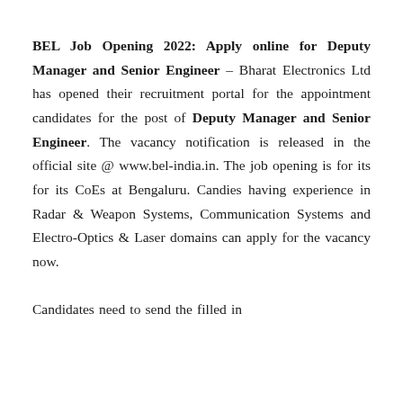BEL Job Opening 2022: Apply online for Deputy Manager and Senior Engineer – Bharat Electronics Ltd has opened their recruitment portal for the appointment candidates for the post of Deputy Manager and Senior Engineer. The vacancy notification is released in the official site @ www.bel-india.in. The job opening is for its for its CoEs at Bengaluru. Candies having experience in Radar & Weapon Systems, Communication Systems and Electro-Optics & Laser domains can apply for the vacancy now.

Candidates need to send the filled in